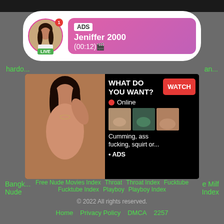[Figure (screenshot): Adult website screenshot with ad notification, live cam banner, and navigation links]
ADS
Jeniffer 2000
(00:12)
LIVE
hard... an...
[Figure (photo): Adult content banner advertisement with WHAT DO YOU WANT? WATCH button, Online indicator, three thumbnail images, and text: Cumming, ass fucking, squirt or... • ADS]
Bangk... e Milf
Nude... Index
Free Nude Movies Index   Throat   Throat Index   Fucktube
Fucktube Index   Playboy   Playboy Index
© 2022 All rights reserved.
Home   Privacy Policy   DMCA   2257